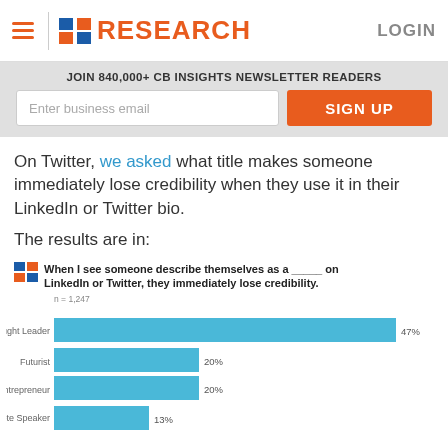CB RESEARCH LOGIN
JOIN 840,000+ CB INSIGHTS NEWSLETTER READERS
On Twitter, we asked what title makes someone immediately lose credibility when they use it in their LinkedIn or Twitter bio.

The results are in:
[Figure (bar-chart): When I see someone describe themselves as a _____ on LinkedIn or Twitter, they immediately lose credibility.]